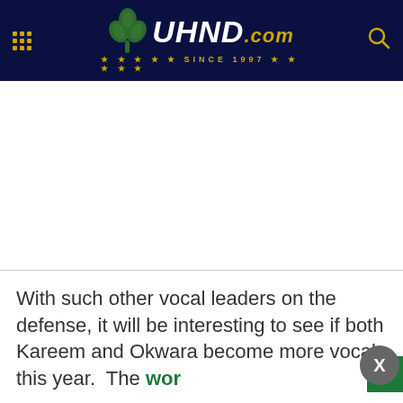UHND.com — Since 1997
[Figure (other): Advertisement area — white blank space]
With such other vocal leaders on the defense, it will be interesting to see if both Kareem and Okwara become more vocal this year.  The wor…